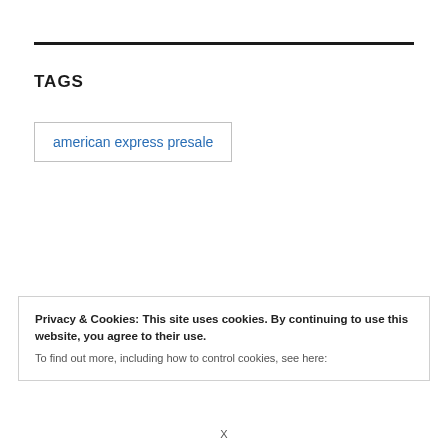TAGS
american express presale
Privacy & Cookies: This site uses cookies. By continuing to use this website, you agree to their use.
To find out more, including how to control cookies, see here:
X